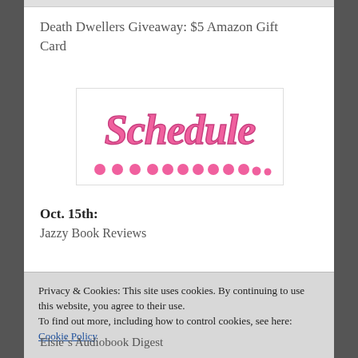Death Dwellers Giveaway: $5 Amazon Gift Card
[Figure (illustration): Schedule banner with pink cursive 'Schedule' text and pink polka dots below on white background]
Oct. 15th:
Jazzy Book Reviews
Privacy & Cookies: This site uses cookies. By continuing to use this website, you agree to their use.
To find out more, including how to control cookies, see here: Cookie Policy
Close and accept
Elsie´s Audiobook Digest